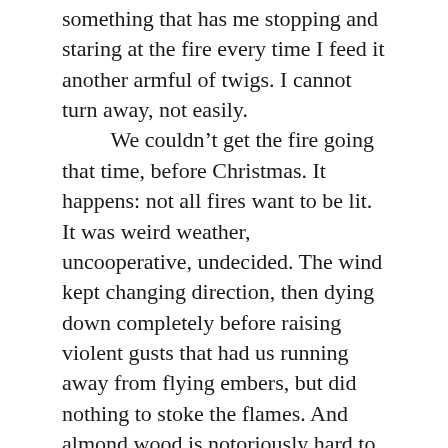something that has me stopping and staring at the fire every time I feed it another armful of twigs. I cannot turn away, not easily.
	We couldn't get the fire going that time, before Christmas. It happens: not all fires want to be lit. It was weird weather, uncooperative, undecided. The wind kept changing direction, then dying down completely before raising violent gusts that had us running away from flying embers, but did nothing to stoke the flames. And almond wood is notoriously hard to burn. We gave up, halfway, intending to return the next day, but we never did, until now. When we were greeted by the result of our neglect. Bits of tree everywhere, half buried in the giant nettles, and the pruning itself not